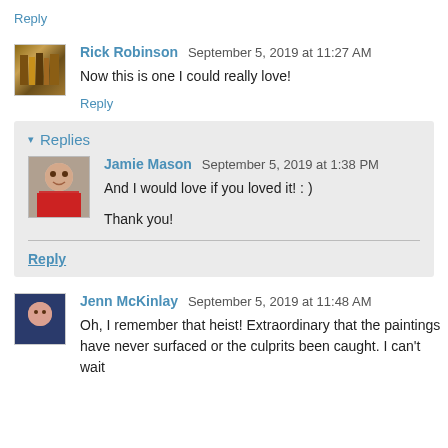Reply
Rick Robinson  September 5, 2019 at 11:27 AM
Now this is one I could really love!
Reply
Replies
Jamie Mason  September 5, 2019 at 1:38 PM
And I would love if you loved it! : )

Thank you!
Reply
Jenn McKinlay  September 5, 2019 at 11:48 AM
Oh, I remember that heist! Extraordinary that the paintings have never surfaced or the culprits been caught. I can't wait